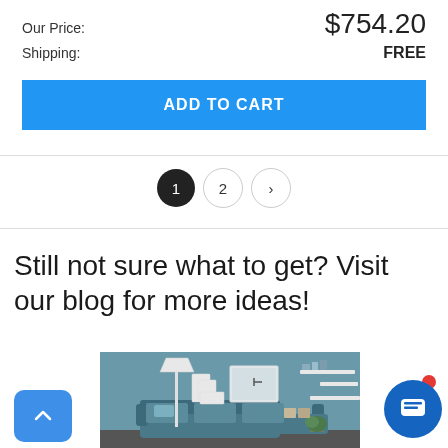Our Price: $754.20
Shipping: FREE
ADD TO CART
1 2 ›
Still not sure what to get? Visit our blog for more ideas!
[Figure (photo): Living room interior with teal sofa, floor lamp, wall shelves, framed art on a teal-blue wall]